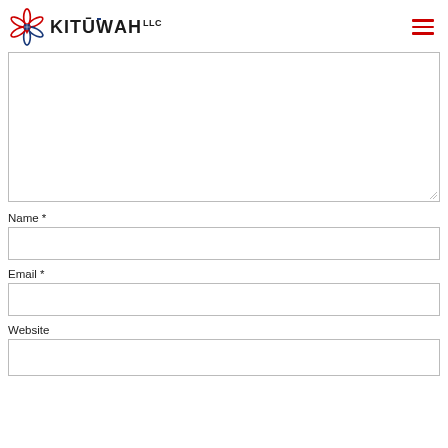[Figure (logo): Kituwah LLC logo with atomic/star symbol in red and blue, bold black text reading KITUWAH with LLC superscript]
Name *
Email *
Website